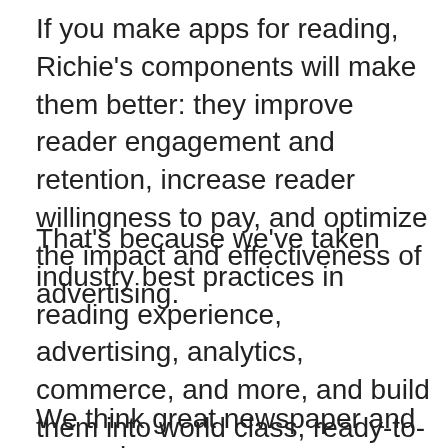If you make apps for reading, Richie's components will make them better: they improve reader engagement and retention, increase reader willingness to pay, and optimize the impact and effectiveness of advertising.
That's because we've taken industry best practices in reading experience, advertising, analytics, commerce, and more, and build them into world class, ready-to-integrate native app components.
We think great newspaper and magazine apps